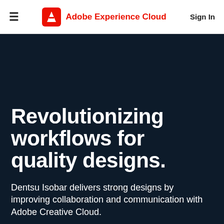≡  Adobe Experience Cloud  Sign In
Revolutionizing workflows for quality designs.
Dentsu Isobar delivers strong designs by improving collaboration and communication with Adobe Creative Cloud.